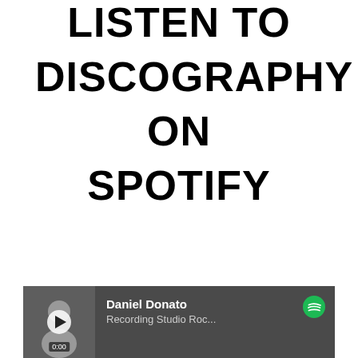LISTEN TO DISCOGRAPHY ON SPOTIFY
[Figure (screenshot): Spotify player card showing Daniel Donato - Recording Studio Roc... with a thumbnail photo, play button, timestamp 0:00, and Spotify logo on a dark grey background]